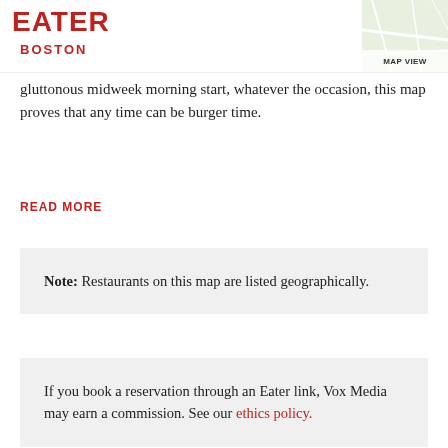EATER BOSTON
[Figure (map): Map view thumbnail of Boston area in upper right corner with roads and terrain]
gluttonous midweek morning start, whatever the occasion, this map proves that any time can be burger time.
READ MORE
Note: Restaurants on this map are listed geographically.
If you book a reservation through an Eater link, Vox Media may earn a commission. See our ethics policy.